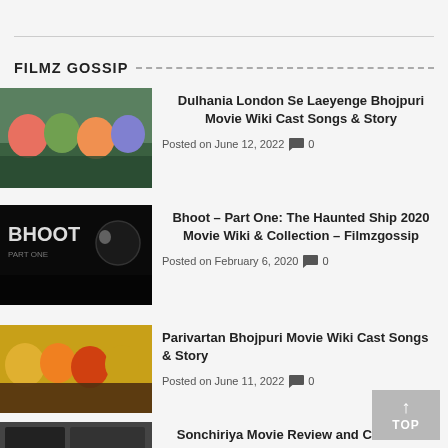FILMZ GOSSIP
Dulhania London Se Laeyenge Bhojpuri Movie Wiki Cast Songs & Story
Posted on June 12, 2022  0
Bhoot – Part One: The Haunted Ship 2020 Movie Wiki & Collection – Filmzgossip
Posted on February 6, 2020  0
Parivartan Bhojpuri Movie Wiki Cast Songs & Story
Posted on June 11, 2022  0
Sonchiriya Movie Review and Collection
Posted on March 20, 2019  0
Kolamavu Kokila Tamil Moviez Reviews an...